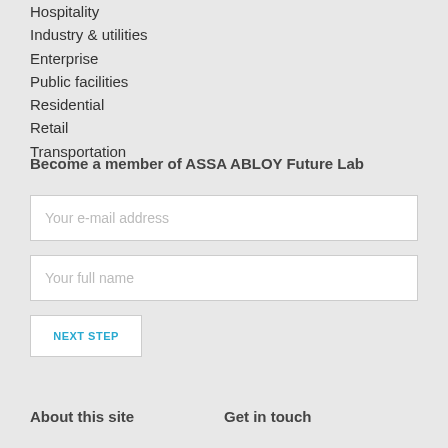Hospitality
Industry & utilities
Enterprise
Public facilities
Residential
Retail
Transportation
Become a member of ASSA ABLOY Future Lab
Your e-mail address
Your full name
NEXT STEP
About this site
Get in touch